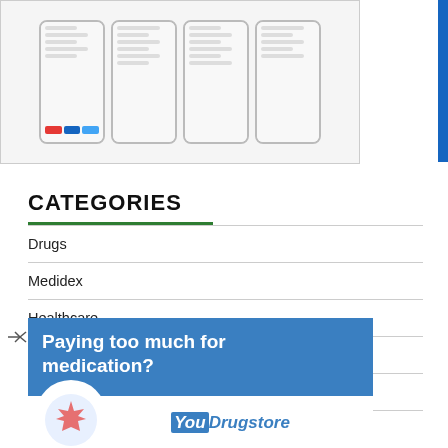[Figure (screenshot): Four mobile phone mockup screenshots showing an app interface with list items and a red/blue/light-blue button row]
CATEGORIES
Drugs
Medidex
Healthcare
Information Technology
Gadgets
[Figure (infographic): YouDrugstore advertisement banner: 'Paying too much for medication?' with YouDrugstore logo and circular maple leaf graphic]